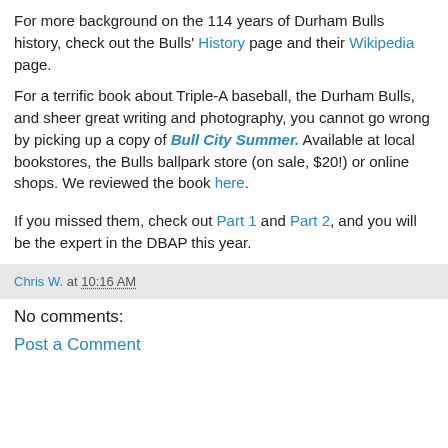For more background on the 114 years of Durham Bulls history, check out the Bulls' History page and their Wikipedia page.
For a terrific book about Triple-A baseball, the Durham Bulls, and sheer great writing and photography, you cannot go wrong by picking up a copy of Bull City Summer. Available at local bookstores, the Bulls ballpark store (on sale, $20!) or online shops. We reviewed the book here.
If you missed them, check out Part 1 and Part 2, and you will be the expert in the DBAP this year.
Chris W. at 10:16 AM
No comments:
Post a Comment